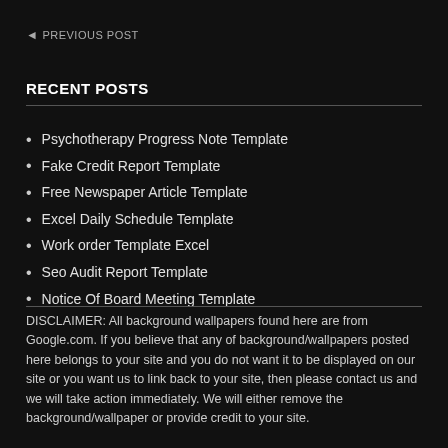◄ PREVIOUS POST
RECENT POSTS
Psychotherapy Progress Note Template
Fake Credit Report Template
Free Newspaper Article Template
Excel Daily Schedule Template
Work order Template Excel
Seo Audit Report Template
Notice Of Board Meeting Template
DISCLAIMER: All background wallpapers found here are from Google.com. If you believe that any of background/wallpapers posted here belongs to your site and you do not want it to be displayed on our site or you want us to link back to your site, then please contact us and we will take action immediately. We will either remove the background/wallpaper or provide credit to your site.